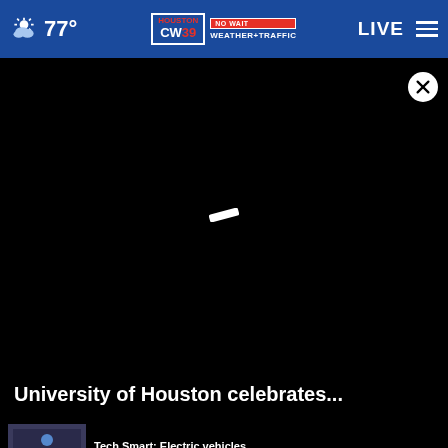77° | CW39 NO WAIT WEATHER+TRAFFIC | LIVE
[Figure (screenshot): Black video player area with loading spinner and close button (X)]
University of Houston celebrates...
[Figure (screenshot): Thumbnail: Tech Smart New Apple Products news segment]
Tech Smart: Electric vehicles